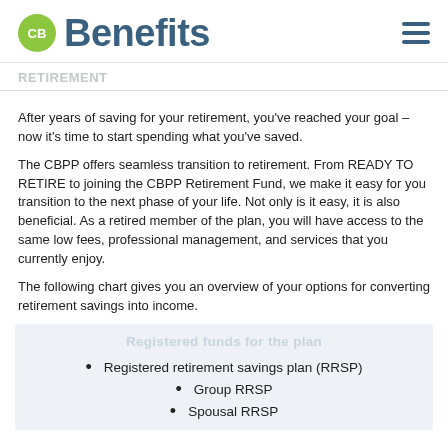CB Benefits
RETIREMENT
After years of saving for your retirement, you've reached your goal – now it's time to start spending what you've saved.
The CBPP offers seamless transition to retirement. From READY TO RETIRE to joining the CBPP Retirement Fund, we make it easy for you transition to the next phase of your life. Not only is it easy, it is also beneficial. As a retired member of the plan, you will have access to the same low fees, professional management, and services that you currently enjoy.
The following chart gives you an overview of your options for converting retirement savings into income.
Registered funds for the plan
Registered retirement savings plan (RRSP)
Group RRSP
Spousal RRSP